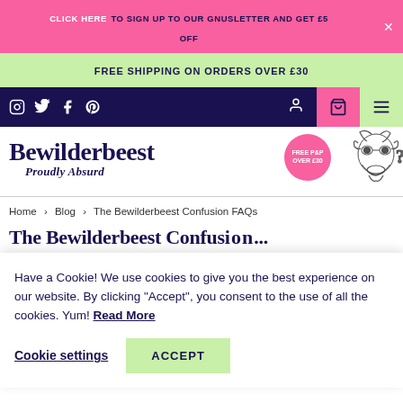CLICK HERE TO SIGN UP TO OUR GNUSLETTER AND GET £5 OFF
FREE SHIPPING ON ORDERS OVER £30
[Figure (logo): Bewilderbeest Proudly Absurd logo with wildebeest illustration and FREE P&P OVER £30 badge]
Home > Blog > The Bewilderbeest Confusion FAQs
The Bewilderbeest Confus...
Have a Cookie! We use cookies to give you the best experience on our website. By clicking "Accept", you consent to the use of all the cookies. Yum! Read More
Cookie settings   ACCEPT